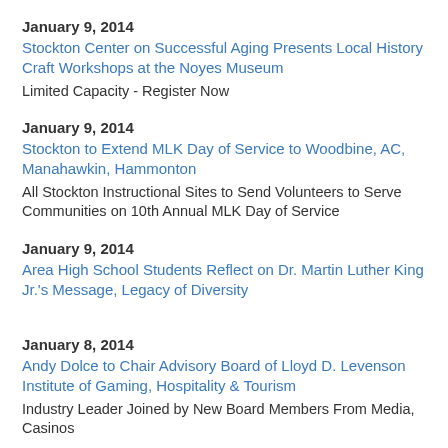January 9, 2014
Stockton Center on Successful Aging Presents Local History Craft Workshops at the Noyes Museum
Limited Capacity - Register Now
January 9, 2014
Stockton to Extend MLK Day of Service to Woodbine, AC, Manahawkin, Hammonton
All Stockton Instructional Sites to Send Volunteers to Serve Communities on 10th Annual MLK Day of Service
January 9, 2014
Area High School Students Reflect on Dr. Martin Luther King Jr.'s Message, Legacy of Diversity
January 8, 2014
Andy Dolce to Chair Advisory Board of Lloyd D. Levenson Institute of Gaming, Hospitality & Tourism
Industry Leader Joined by New Board Members From Media, Casinos